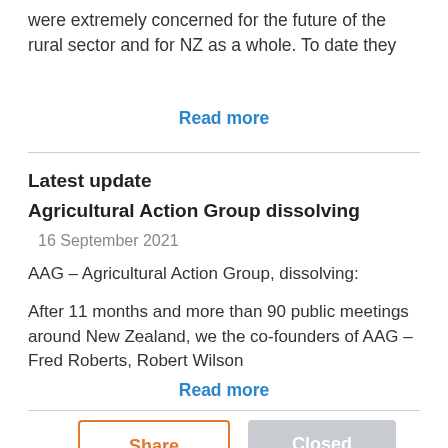were extremely concerned for the future of the rural sector and for NZ as a whole. To date they
Read more
Latest update
Agricultural Action Group dissolving
16 September 2021
AAG – Agricultural Action Group, dissolving:
After 11 months and more than 90 public meetings around New Zealand, we the co-founders of AAG – Fred Roberts, Robert Wilson
Read more
Share
Closed